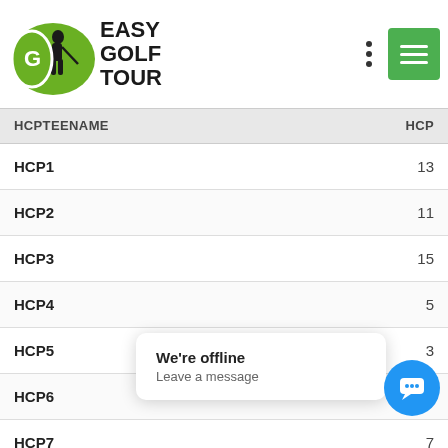EASY GOLF TOUR
| HCPTEENAME | HCP |
| --- | --- |
| HCP1 | 13 |
| HCP2 | 11 |
| HCP3 | 15 |
| HCP4 | 5 |
| HCP5 | 3 |
| HCP6 | 17 |
| HCP7 | 7 |
| HCP8 | 1 |
| HCP9 | 9 |
| HCPTOTAL |  |
| HCP10 |  |
We're offline
Leave a message